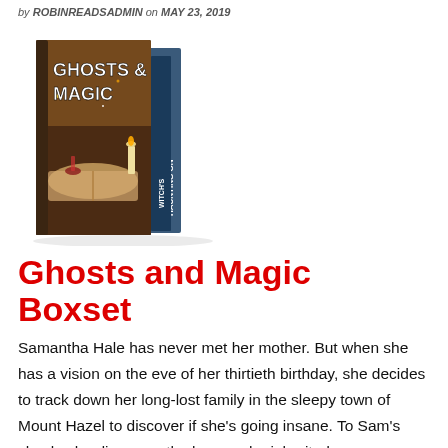by ROBINREADSADMIN on MAY 23, 2019
[Figure (photo): Book cover image for 'Ghosts & Magic' boxset showing two stacked book covers — the front cover features an open ancient tome with a candle and mystical objects, titled 'Ghosts & Magic'; the spine shows 'Witch's' and the back shows 'Haunting On'.]
Ghosts and Magic Boxset
Samantha Hale has never met her mother. But when she has a vision on the eve of her thirtieth birthday, she decides to track down her long-lost family in the sleepy town of Mount Hazel to discover if she's going insane. To Sam's shock, she discovers the legacy she inherited—a